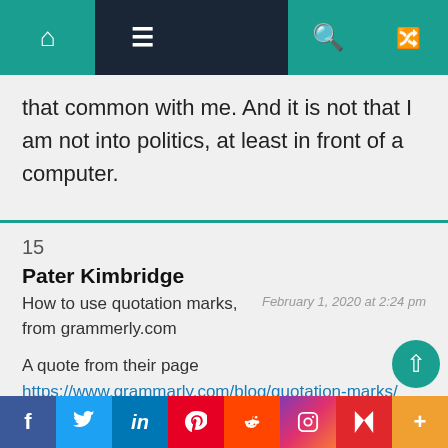Navigation bar with home, menu, search, and random icons
that common with me. And it is not that I am not into politics, at least in front of a computer.
15
Pater Kimbridge
How to use quotation marks, from grammerly.com
February 1, 2020 at 2:24 pm
A quote from their page
https://www.grammarly.com/blog/quotation-marks/
“Quotation marks are for when you want to use someone else’s words in your writing.”
f  Twitter  in  Pinterest  Reddit  Instagram  Flipboard  More